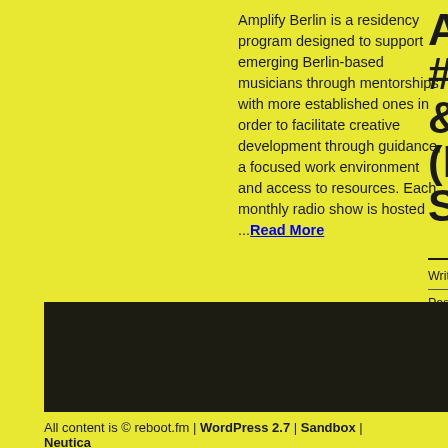Amplify Berlin is a residency program designed to support emerging Berlin-based musicians through mentorships with more established ones in order to facilitate creative development through guidance, a focused work environment and access to resources. Each monthly radio show is hosted ...Read More
Am #1 & (M Se
Written Posted Filed Radio Read
[Figure (other): Dark/black rectangular section at the bottom of the page content area]
All content is © reboot.fm | WordPress 2.7 | Sandbox | Neutica